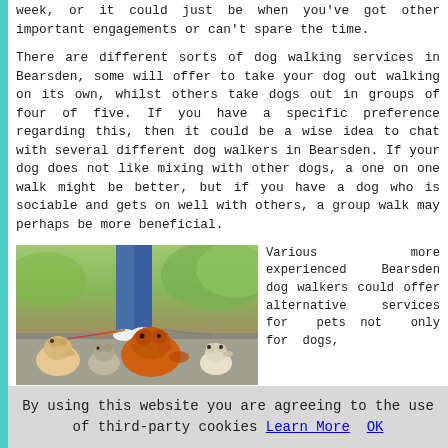week, or it could just be when you've got other important engagements or can't spare the time.
There are different sorts of dog walking services in Bearsden, some will offer to take your dog out walking on its own, whilst others take dogs out in groups of four of five. If you have a specific preference regarding this, then it could be a wise idea to chat with several different dog walkers in Bearsden. If your dog does not like mixing with other dogs, a one on one walk might be better, but if you have a dog who is sociable and gets on well with others, a group walk may perhaps be more beneficial.
[Figure (photo): A person walking multiple small dogs on leashes including Pomeranians and Chihuahuas on a pavement]
Various more experienced Bearsden dog walkers could offer alternative services for pets not only for dogs,
By using this website you are agreeing to the use of third-party cookies Learn More OK